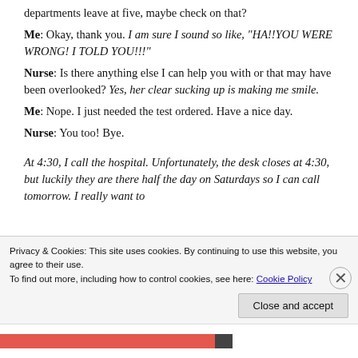departments leave at five, maybe check on that?
Me: Okay, thank you. I am sure I sound so like, "HA!!YOU WERE WRONG! I TOLD YOU!!!"
Nurse: Is there anything else I can help you with or that may have been overlooked? Yes, her clear sucking up is making me smile.
Me: Nope. I just needed the test ordered. Have a nice day.
Nurse: You too! Bye.
At 4:30, I call the hospital. Unfortunately, the desk closes at 4:30, but luckily they are there half the day on Saturdays so I can call tomorrow. I really want to
Privacy & Cookies: This site uses cookies. By continuing to use this website, you agree to their use.
To find out more, including how to control cookies, see here: Cookie Policy